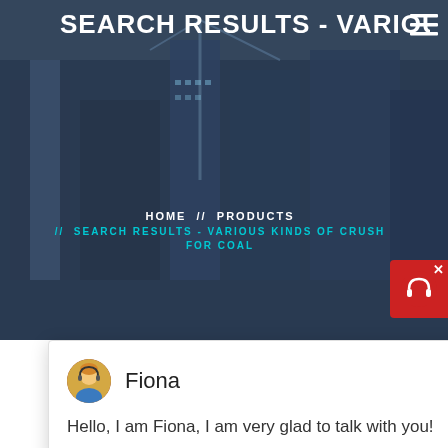SEARCH RESULTS - VARIOUS KI
HOME // PRODUCTS // SEARCH RESULTS - VARIOUS KINDS OF CRUSH FOR COAL
Fiona
Hello, I am Fiona, I am very glad to talk with you!
[Figure (photo): Industrial crushing/screening machinery in a facility]
1